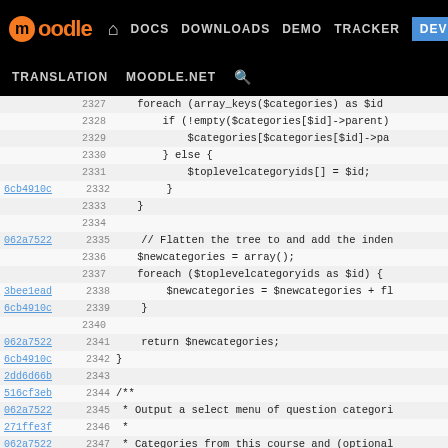Moodle navigation bar with DOCS, DOWNLOADS, DEMO, TRACKER, DEV links and TRANSLATION, MOODLE.NET, search
[Figure (screenshot): Moodle developer site code viewer showing PHP source lines 2327-2352 with commit hashes and syntax-highlighted code]
2327: foreach (array_keys($categories) as $id)
2328: if (!empty($categories[$id]->parent)
2329: $categories[$categories[$id]->pa
2330: } else {
2331: $toplevelcategoryids[] = $id;
2332: }
2333: }
2334:
2335: // Flatten the tree to and add the inden
2336: $newcategories = array();
2337: foreach ($toplevelcategoryids as $id) {
2338: $newcategories = $newcategories + fl
2339: }
2340:
2341: return $newcategories;
2342: }
2343:
2344: /**
2345: * Output a select menu of question categori
2346: *
2347: * Categories from this course and (optional
2348: * are included. Optionally, only categories
2349: *
2350: * @param integer $courseid the id of the co
2351: * @param integer $published if true, includ
2352: * @param integer $only_editable if true, ex
2353: * @param integer $selected optionally, the